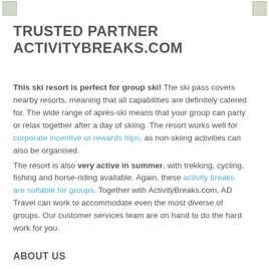TRUSTED PARTNER ACTIVITYBREAKS.COM
This ski resort is perfect for group ski! The ski pass covers nearby resorts, meaning that all capabilities are definitely catered for. The wide range of après-ski means that your group can party or relax together after a day of skiing. The resort works well for corporate incentive or rewards trips, as non-skiing activities can also be organised.
The resort is also very active in summer, with trekking, cycling, fishing and horse-riding available. Again, these activity breaks are suitable for groups. Together with ActivityBreaks.com, AD Travel can work to accommodate even the most diverse of groups. Our customer services team are on hand to do the hard work for you.
ABOUT US